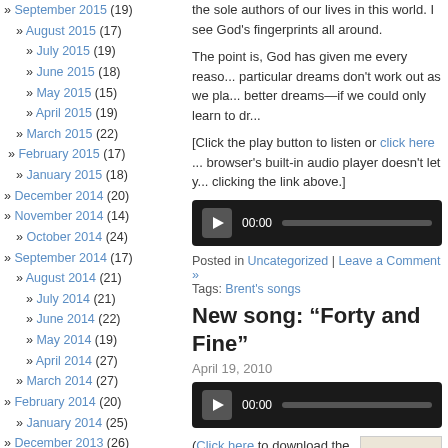» September 2015 (19)
» August 2015 (17)
» July 2015 (19)
» June 2015 (18)
» May 2015 (15)
» April 2015 (19)
» March 2015 (22)
» February 2015 (17)
» January 2015 (18)
» December 2014 (20)
» November 2014 (14)
» October 2014 (24)
» September 2014 (17)
» August 2014 (21)
» July 2014 (21)
» June 2014 (22)
» May 2014 (19)
» April 2014 (27)
» March 2014 (27)
» February 2014 (20)
» January 2014 (25)
» December 2013 (26)
» November 2013 (23)
» October 2013 (23)
» September 2013 (21)
» August 2013 (19)
» July 2013 (22)
» June 2013 (19)
» May 2013 (28)
» April 2013 (21)
» March 2013 (20)
» February 2013 (19)
the sole authors of our lives in this world. I see God's fingerprints all around.
The point is, God has given me every reason... particular dreams don't work out as we plan... better dreams—if we could only learn to dre...
[Click the play button to listen or click here ... browser's built-in audio player doesn't let yo... clicking the link above.]
[Figure (screenshot): Audio player with play button, 00:00 timer and progress bar on dark background]
Posted in Uncategorized | Leave a Comment »
Tags: Brent's songs
New song: “Forty and Fine”
April 19, 2010
[Figure (screenshot): Audio player with play button, 00:00 timer and progress bar on dark background]
(Click here to download the .mp3.)
I wrote this song after I turned 40 in February. Forty is a nice round number—the official
[Figure (photo): Thumbnail image with orange letter B on light background]